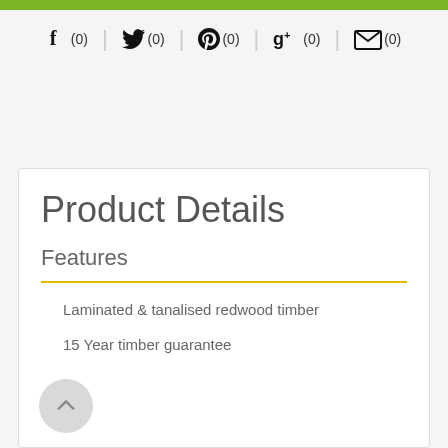[Figure (other): Green horizontal bar at the top of the page]
f (0)  |  (0)  |  (0)  |  g+ (0)  |  (0) — Social share bar with Facebook, Twitter, Pinterest, Google+, and Email icons each showing count (0)
Product Details
Features
Laminated & tanalised redwood timber
15 Year timber guarantee